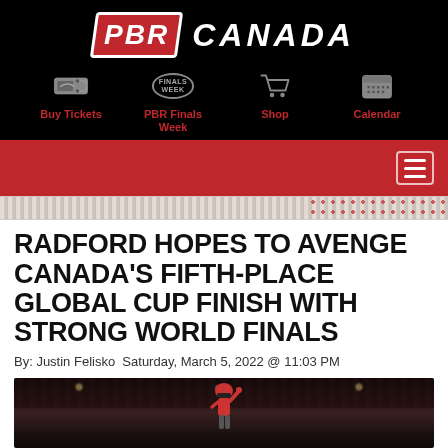[Figure (logo): PBR Canada logo with navigation icons for Buy Tickets, PBR Finals Week, Shop, and Calendar on black background]
[Figure (screenshot): Red navigation bar with hamburger menu button on right]
[Figure (illustration): Decorative divider strip with pattern and red dots]
RADFORD HOPES TO AVENGE CANADA'S FIFTH-PLACE GLOBAL CUP FINISH WITH STRONG WORLD FINALS
By: Justin Felisko  Saturday, March 5, 2022 @ 11:03 PM
[Figure (photo): Bull rider in arena raising hand, wearing red and white gear with helmet]